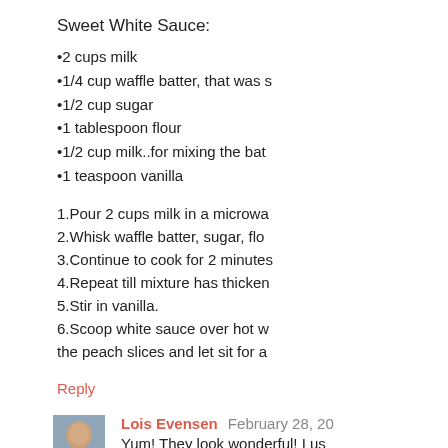Sweet White Sauce:
•2 cups milk
•1/4 cup waffle batter, that was s
•1/2 cup sugar
•1 tablespoon flour
•1/2 cup milk..for mixing the bat
•1 teaspoon vanilla
1.Pour 2 cups milk in a microwa
2.Whisk waffle batter, sugar, flo
3.Continue to cook for 2 minutes
4.Repeat till mixture has thicken
5.Stir in vanilla.
6.Scoop white sauce over hot w
the peach slices and let sit for a
Reply
Lois Evensen February 28, 20
Yum! They look wonderful! I us
fluffy.